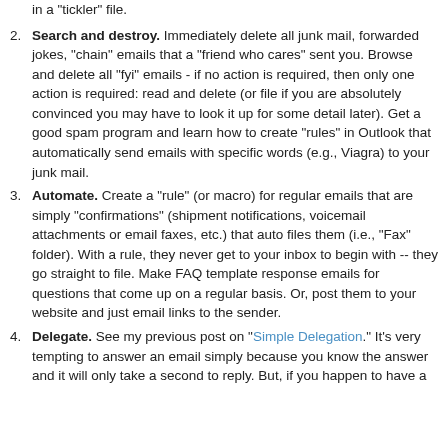in a "tickler" file.
Search and destroy. Immediately delete all junk mail, forwarded jokes, "chain" emails that a "friend who cares" sent you. Browse and delete all "fyi" emails - if no action is required, then only one action is required: read and delete (or file if you are absolutely convinced you may have to look it up for some detail later). Get a good spam program and learn how to create "rules" in Outlook that automatically send emails with specific words (e.g., Viagra) to your junk mail.
Automate. Create a "rule" (or macro) for regular emails that are simply "confirmations" (shipment notifications, voicemail attachments or email faxes, etc.) that auto files them (i.e., "Fax" folder). With a rule, they never get to your inbox to begin with -- they go straight to file. Make FAQ template response emails for questions that come up on a regular basis. Or, post them to your website and just email links to the sender.
Delegate. See my previous post on "Simple Delegation." It's very tempting to answer an email simply because you know the answer and it will only take a second to reply. But, if you happen to have a